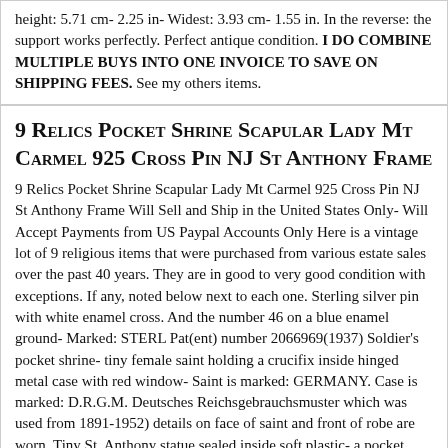height: 5.71 cm- 2.25 in- Widest: 3.93 cm- 1.55 in. In the reverse: the support works perfectly. Perfect antique condition. I DO COMBINE MULTIPLE BUYS INTO ONE INVOICE TO SAVE ON SHIPPING FEES. See my others items.
9 Relics Pocket Shrine Scapular Lady Mt Carmel 925 Cross Pin NJ St Anthony Frame
9 Relics Pocket Shrine Scapular Lady Mt Carmel 925 Cross Pin NJ St Anthony Frame Will Sell and Ship in the United States Only- Will Accept Payments from US Paypal Accounts Only Here is a vintage lot of 9 religious items that were purchased from various estate sales over the past 40 years. They are in good to very good condition with exceptions. If any, noted below next to each one. Sterling silver pin with white enamel cross. And the number 46 on a blue enamel ground- Marked: STERL Pat(ent) number 2066969(1937) Soldier's pocket shrine- tiny female saint holding a crucifix inside hinged metal case with red window- Saint is marked: GERMANY. Case is marked: D.R.G.M. Deutsches Reichsgebrauchsmuster which was used from 1891-1952) details on face of saint and front of robe are worn. Tiny St. Anthony statue sealed inside soft plastic- a pocket ... more
Vintage Virgin Mary Soldier Pocket Shrine Red Window Case Germany WW2 Era
Vintage Virgin Mary Soldier Pocket Shrine Red Window Case Germany WW2 Era Nice statute with some rust. Made in Germany. The images are of the actual items listed. See pictures for condition. Please magnify the pictures and review them carefully before bidding. A great find for